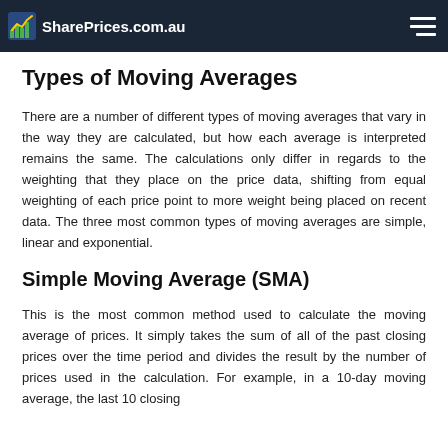SharePrices.com.au
Types of Moving Averages
There are a number of different types of moving averages that vary in the way they are calculated, but how each average is interpreted remains the same. The calculations only differ in regards to the weighting that they place on the price data, shifting from equal weighting of each price point to more weight being placed on recent data. The three most common types of moving averages are simple, linear and exponential.
Simple Moving Average (SMA)
This is the most common method used to calculate the moving average of prices. It simply takes the sum of all of the past closing prices over the time period and divides the result by the number of prices used in the calculation. For example, in a 10-day moving average, the last 10 closing